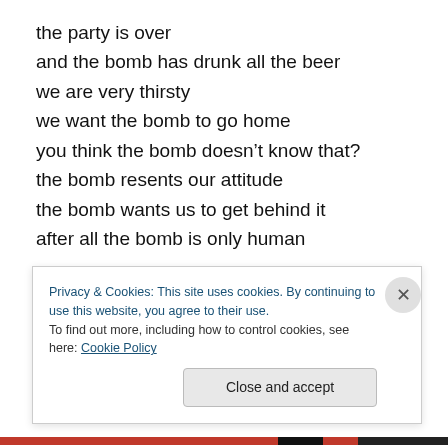the party is over
and the bomb has drunk all the beer
we are very thirsty
we want the bomb to go home
you think the bomb doesn’t know that?
the bomb resents our attitude
the bomb wants us to get behind it
after all the bomb is only human
the bomb is just doing its job
a job no one else will do
Privacy & Cookies: This site uses cookies. By continuing to use this website, you agree to their use.
To find out more, including how to control cookies, see here: Cookie Policy
Close and accept